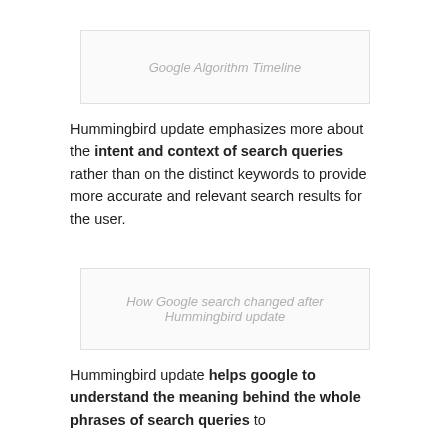[Figure (illustration): Placeholder image box for Google Algorithm Timeline]
Google Algorithm Timeline
Hummingbird update emphasizes more about the intent and context of search queries rather than on the distinct keywords to provide more accurate and relevant search results for the user.
[Figure (illustration): Placeholder image box for How Google search changed after Hummingbird update]
How Google search changed after Hummingbird update
Hummingbird update helps google to understand the meaning behind the whole phrases of search queries to